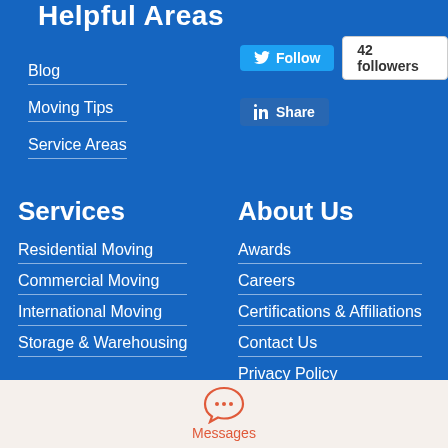Helpful Areas
Blog
Moving Tips
Service Areas
[Figure (screenshot): Twitter Follow button with 42 followers count]
[Figure (screenshot): LinkedIn Share button]
Services
About Us
Residential Moving
Awards
Commercial Moving
Careers
International Moving
Certifications & Affiliations
Storage & Warehousing
Contact Us
Privacy Policy
[Figure (illustration): Chat bubble / messages icon in red]
Messages